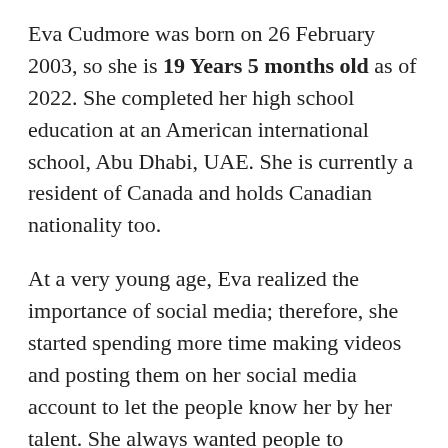Eva Cudmore was born on 26 February 2003, so she is 19 Years 5 months old as of 2022. She completed her high school education at an American international school, Abu Dhabi, UAE. She is currently a resident of Canada and holds Canadian nationality too.
At a very young age, Eva realized the importance of social media; therefore, she started spending more time making videos and posting them on her social media account to let the people know her by her talent. She always wanted people to recognize her as a celebrity. But who knew that this would happen at such an early age for her? She has now developed herself as a successful social media star with a huge fan following about 2.5+ million on TikTok and around